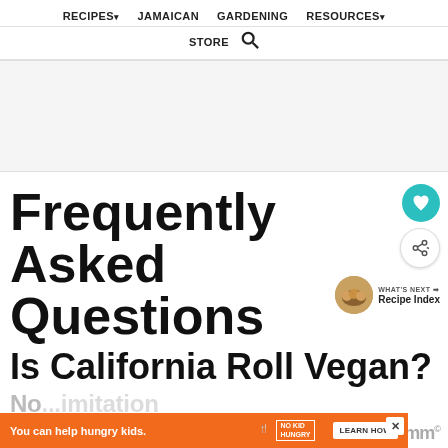RECIPES▾   JAMAICAN   GARDENING   RESOURCES▾   STORE 🔍
[Figure (other): Advertisement placeholder banner area (gray background)]
Frequently Asked Questions
Is California Roll Vegan?
[Figure (other): Orange advertisement banner: You can help hungry kids. NO KID HUNGRY. LEARN HOW]
No...imitation